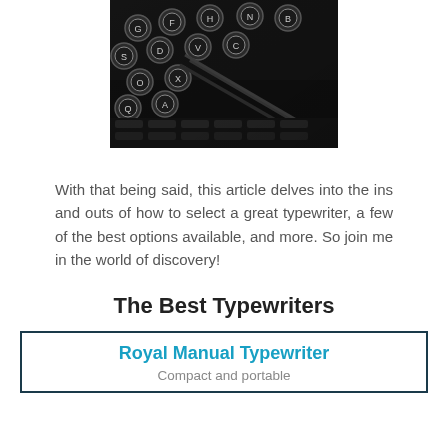[Figure (photo): Black and white close-up photograph of vintage typewriter keys and typebars]
With that being said, this article delves into the ins and outs of how to select a great typewriter, a few of the best options available, and more. So join me in the world of discovery!
The Best Typewriters
Royal Manual Typewriter
Compact and portable